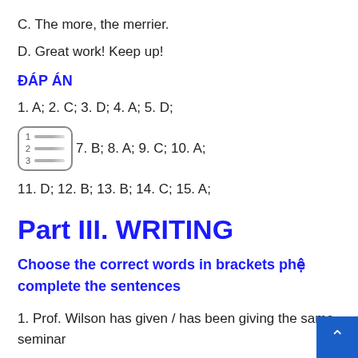C. The more, the merrier.
D. Great work! Keep up!
ĐÁP ÁN
1. A; 2. C; 3. D; 4. A; 5. D;
6. [icon] 7. B; 8. A; 9. C; 10. A;
11. D; 12. B; 13. B; 14. C; 15. A;
Part III. WRITING
Choose the correct words in brackets phệ complete the sentences
1. Prof. Wilson has given / has been giving the same seminar